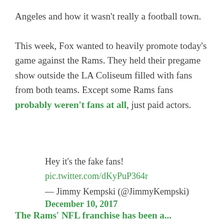Angeles and how it wasn't really a football town. This week, Fox wanted to heavily promote today's game against the Rams. They held their pregame show outside the LA Coliseum filled with fans from both teams. Except some Rams fans probably weren't fans at all, just paid actors.
Hey it's the fake fans! pic.twitter.com/dKyPuP364r — Jimmy Kempski (@JimmyKempski) December 10, 2017
The Rams' NFL franchise has been a...